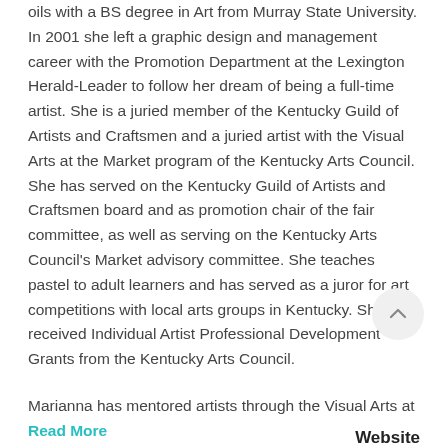oils with a BS degree in Art from Murray State University. In 2001 she left a graphic design and management career with the Promotion Department at the Lexington Herald-Leader to follow her dream of being a full-time artist. She is a juried member of the Kentucky Guild of Artists and Craftsmen and a juried artist with the Visual Arts at the Market program of the Kentucky Arts Council. She has served on the Kentucky Guild of Artists and Craftsmen board and as promotion chair of the fair committee, as well as serving on the Kentucky Arts Council's Market advisory committee. She teaches pastel to adult learners and has served as a juror for art competitions with local arts groups in Kentucky. She has received Individual Artist Professional Development Grants from the Kentucky Arts Council.
Marianna has mentored artists through the Visual Arts at
Read More
Website